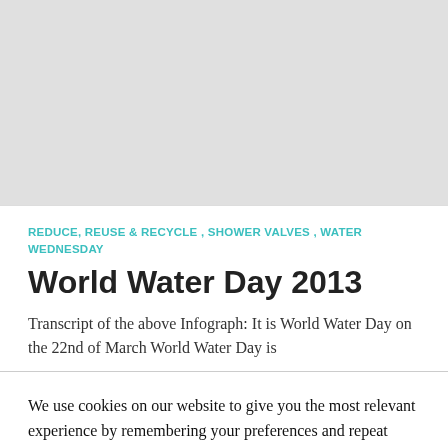[Figure (other): Gray placeholder image area at top of page]
REDUCE, REUSE & RECYCLE, SHOWER VALVES, WATER WEDNESDAY
World Water Day 2013
Transcript of the above Infograph: It is World Water Day on the 22nd of March World Water Day is
We use cookies on our website to give you the most relevant experience by remembering your preferences and repeat visits. By clicking "Accept All", you consent to the use of ALL the cookies. However, you may visit "Cookie Settings" to provide a controlled consent.
Cookie Settings | Accept All